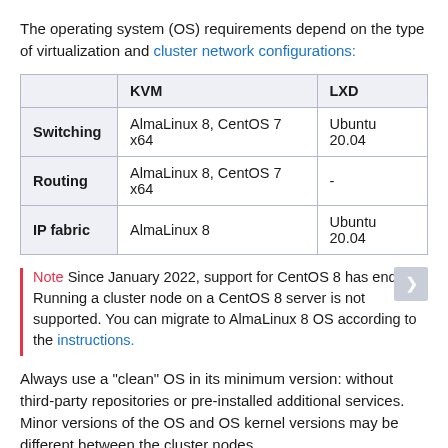The operating system (OS) requirements depend on the type of virtualization and cluster network configurations:
|  | KVM | LXD |
| --- | --- | --- |
| Switching | AlmaLinux 8, CentOS 7 x64 | Ubuntu 20.04 |
| Routing | AlmaLinux 8, CentOS 7 x64 | - |
| IP fabric | AlmaLinux 8 | Ubuntu 20.04 |
Note Since January 2022, support for CentOS 8 has ended. Running a cluster node on a CentOS 8 server is not supported. You can migrate to AlmaLinux 8 OS according to the instructions.
Always use a "clean" OS in its minimum version: without third-party repositories or pre-installed additional services. Minor versions of the OS and OS kernel versions may be different between the cluster nodes.